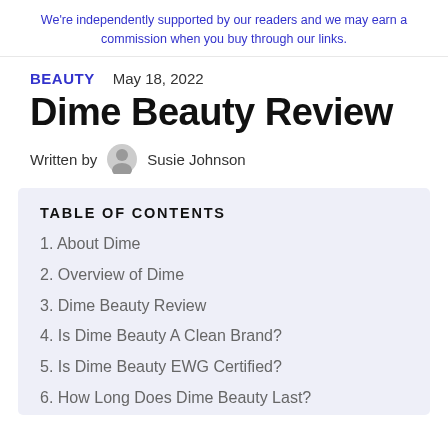We're independently supported by our readers and we may earn a commission when you buy through our links.
BEAUTY   May 18, 2022
Dime Beauty Review
Written by Susie Johnson
TABLE OF CONTENTS
1. About Dime
2. Overview of Dime
3. Dime Beauty Review
4. Is Dime Beauty A Clean Brand?
5. Is Dime Beauty EWG Certified?
6. How Long Does Dime Beauty Last?